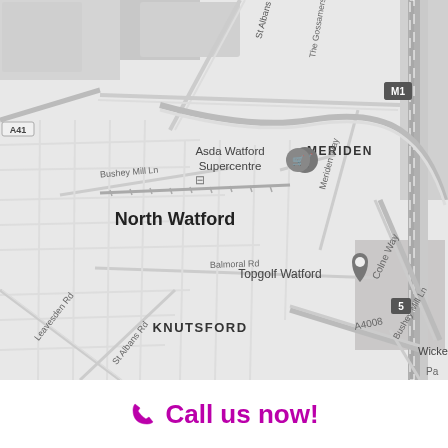[Figure (map): Greyscale street map of North Watford area showing roads, landmarks including Asda Watford Supercentre, Topgolf Watford (with pin marker), MERIDEN, KNUTSFORD neighbourhoods, roads A41, M1, A4008, Colne Way, Bushey Mill Ln, St Albans Rd, Balmoral Rd, Meriden Way, Leavesden Rd, The Gossamers.]
📞 Call us now!